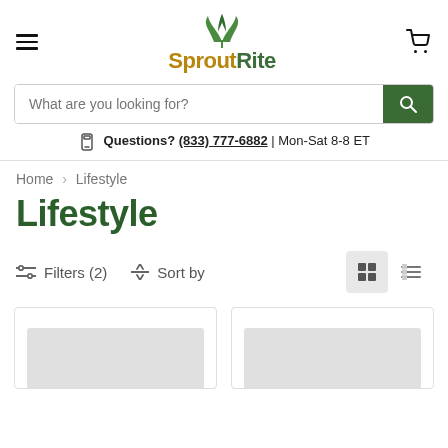SproutRite
What are you looking for?
Questions? (833) 777-6882 | Mon-Sat 8-8 ET
Home > Lifestyle
Lifestyle
Filters (2)  Sort by
[Figure (screenshot): Two product card placeholders with gray image areas at the bottom of the page]